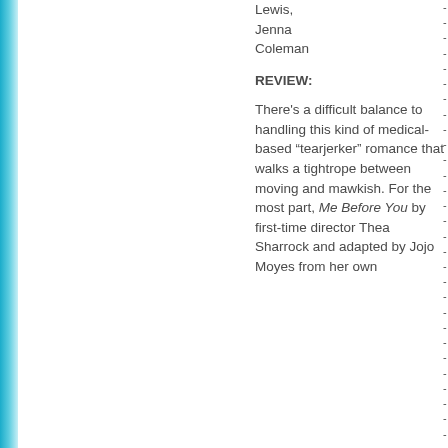Lewis, Jenna Coleman
REVIEW:
There's a difficult balance to handling this kind of medical-based “tearjerker” romance that walks a tightrope between moving and mawkish. For the most part, Me Before You by first-time director Thea Sharrock and adapted by Jojo Moyes from her own